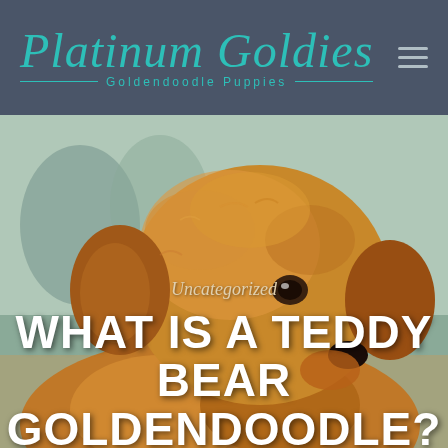Platinum Goldies — Goldendoodle Puppies
[Figure (photo): Close-up photo of a fluffy golden/red Goldendoodle puppy looking to the right against a blurred background]
Uncategorized
WHAT IS A TEDDY BEAR GOLDENDOODLE?